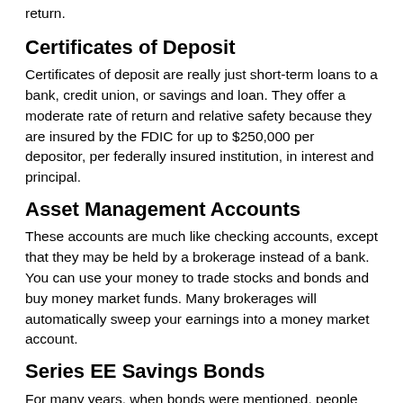return.
Certificates of Deposit
Certificates of deposit are really just short-term loans to a bank, credit union, or savings and loan. They offer a moderate rate of return and relative safety because they are insured by the FDIC for up to $250,000 per depositor, per federally insured institution, in interest and principal.
Asset Management Accounts
These accounts are much like checking accounts, except that they may be held by a brokerage instead of a bank. You can use your money to trade stocks and bonds and buy money market funds. Many brokerages will automatically sweep your earnings into a money market account.
Series EE Savings Bonds
For many years, when bonds were mentioned, people thought of U.S. savings bonds. Series EE savings bonds are